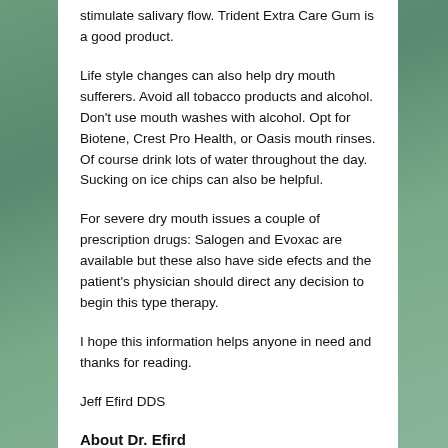stimulate salivary flow. Trident Extra Care Gum is a good product.
Life style changes can also help dry mouth sufferers. Avoid all tobacco products and alcohol. Don't use mouth washes with alcohol. Opt for Biotene, Crest Pro Health, or Oasis mouth rinses. Of course drink lots of water throughout the day. Sucking on ice chips can also be helpful.
For severe dry mouth issues a couple of prescription drugs: Salogen and Evoxac are available but these also have side efects and the patient's physician should direct any decision to begin this type therapy.
I hope this information helps anyone in need and thanks for reading.
Jeff Efird DDS
About Dr. Efird